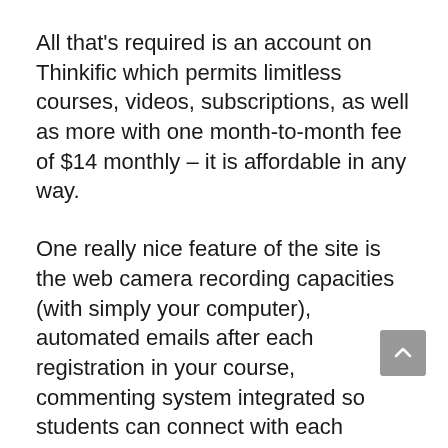All that's required is an account on Thinkific which permits limitless courses, videos, subscriptions, as well as more with one month-to-month fee of $14 monthly – it is affordable in any way.
One really nice feature of the site is the web camera recording capacities (with simply your computer), automated emails after each registration in your course, commenting system integrated so students can connect with each various other before they start taking the class – it also has social networks assimilation.
One more terrific point concerning